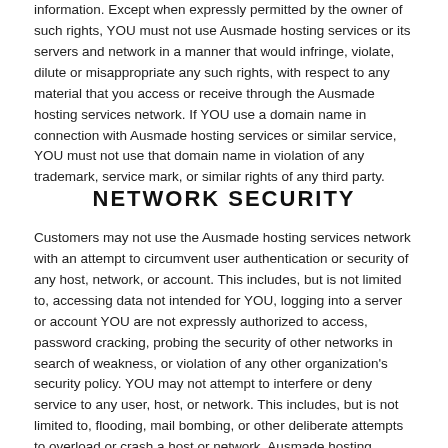information. Except when expressly permitted by the owner of such rights, YOU must not use Ausmade hosting services or its servers and network in a manner that would infringe, violate, dilute or misappropriate any such rights, with respect to any material that you access or receive through the Ausmade hosting services network. If YOU use a domain name in connection with Ausmade hosting services or similar service, YOU must not use that domain name in violation of any trademark, service mark, or similar rights of any third party.
NETWORK SECURITY
Customers may not use the Ausmade hosting services network with an attempt to circumvent user authentication or security of any host, network, or account. This includes, but is not limited to, accessing data not intended for YOU, logging into a server or account YOU are not expressly authorized to access, password cracking, probing the security of other networks in search of weakness, or violation of any other organization's security policy. YOU may not attempt to interfere or deny service to any user, host, or network. This includes, but is not limited to, flooding, mail bombing, or other deliberate attempts to overload or crash a host or network. Ausmade hosting services will cooperate fully with investigations for violations of systems or network security at other sites, including cooperating with law enforcement authorities in the investigation of suspected criminal violations. Users who violate system security may incur criminal or civil liability.